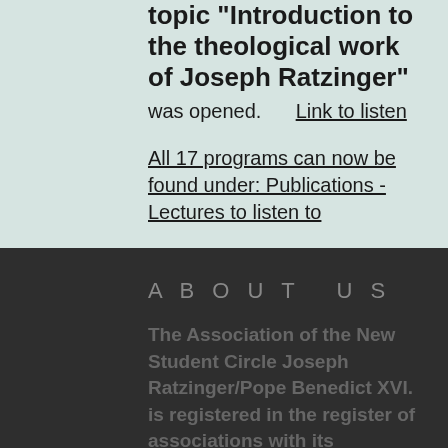topic "Introduction to the theological work of Joseph Ratzinger" was opened.    Link to listen
All 17 programs can now be found under: Publications - Lectures to listen to
ABOUT US
The Association of the New Student Circle Joseph Ratzinger/Pope Benedict XVI. is registered in the register of associations with its registered office in Munich.  It works selflessly and does not pursue any commercial goals. Funds of the